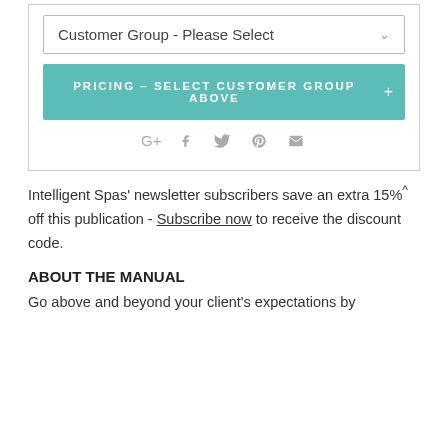[Figure (screenshot): UI card with a dropdown selector labeled 'Customer Group - Please Select', a teal button 'PRICING - SELECT CUSTOMER GROUP ABOVE +', and social share icons (Google+, Facebook, Twitter, Pinterest, Email)]
Intelligent Spas' newsletter subscribers save an extra 15%^ off this publication - Subscribe now to receive the discount code.
ABOUT THE MANUAL
Go above and beyond your client's expectations by